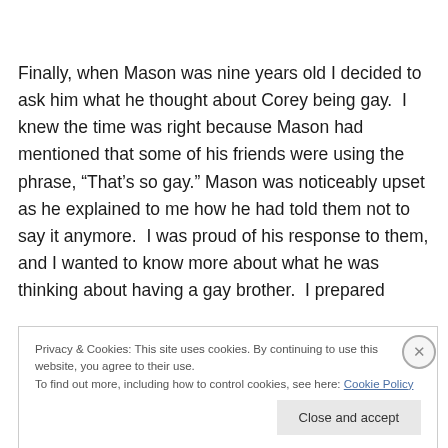Finally, when Mason was nine years old I decided to ask him what he thought about Corey being gay.  I knew the time was right because Mason had mentioned that some of his friends were using the phrase, “That’s so gay.” Mason was noticeably upset as he explained to me how he had told them not to say it anymore.  I was proud of his response to them, and I wanted to know more about what he was thinking about having a gay brother.  I prepared
Privacy & Cookies: This site uses cookies. By continuing to use this website, you agree to their use.
To find out more, including how to control cookies, see here: Cookie Policy
Close and accept